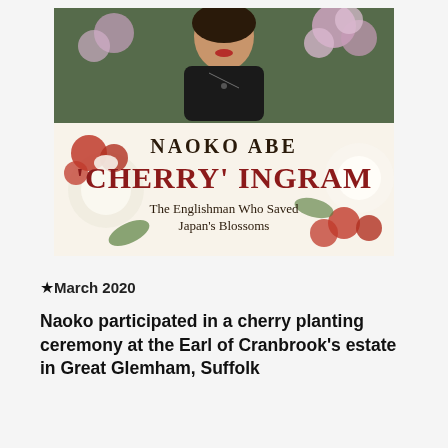[Figure (illustration): Book cover of 'Cherry' Ingram by Naoko Abe. Shows a woman standing in front of cherry blossoms at top, with book title text: 'NAOKO ABE' in dark serif, then ''CHERRY' INGRAM' in large red serif letters, then 'The Englishman Who Saved Japan's Blossoms' below. Background features pale cream with cherry blossom illustrations.]
★March 2020
Naoko participated in a cherry planting ceremony at the Earl of Cranbrook's estate in Great Glemham, Suffolk